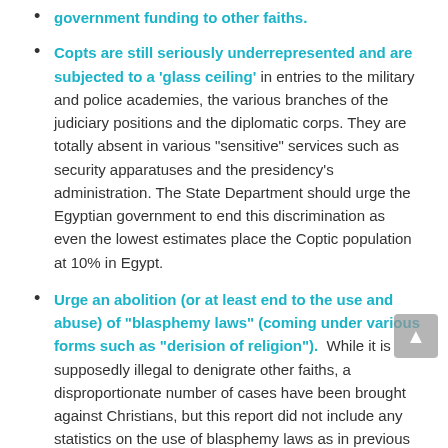government funding to other faiths.
Copts are still seriously underrepresented and are subjected to a 'glass ceiling' in entries to the military and police academies, the various branches of the judiciary positions and the diplomatic corps. They are totally absent in various "sensitive" services such as security apparatuses and the presidency's administration. The State Department should urge the Egyptian government to end this discrimination as even the lowest estimates place the Coptic population at 10% in Egypt.
Urge an abolition (or at least end to the use and abuse) of "blasphemy laws" (coming under various forms such as "derision of religion").  While it is supposedly illegal to denigrate other faiths, a disproportionate number of cases have been brought against Christians, but this report did not include any statistics on the use of blasphemy laws as in previous reports.
The Egyptian constitution claims religious freedom for all, yet immediately narrows down the right to practice and establish